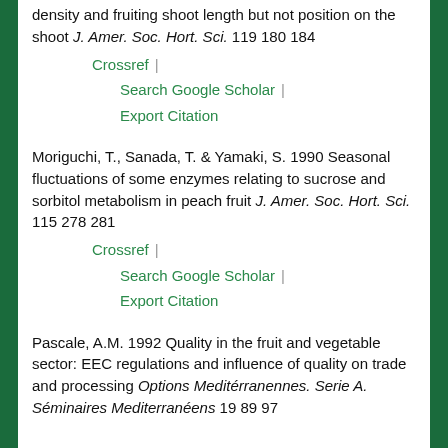density and fruiting shoot length but not position on the shoot J. Amer. Soc. Hort. Sci. 119 180 184
Crossref | Search Google Scholar | Export Citation
Moriguchi, T., Sanada, T. & Yamaki, S. 1990 Seasonal fluctuations of some enzymes relating to sucrose and sorbitol metabolism in peach fruit J. Amer. Soc. Hort. Sci. 115 278 281
Crossref | Search Google Scholar | Export Citation
Pascale, A.M. 1992 Quality in the fruit and vegetable sector: EEC regulations and influence of quality on trade and processing Options Meditérranennes. Serie A. Séminaires Mediterranéens 19 89 97